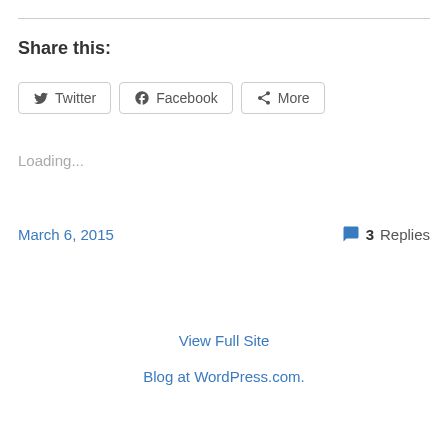Share this:
Twitter
Facebook
More
Loading...
March 6, 2015
3 Replies
View Full Site
Blog at WordPress.com.